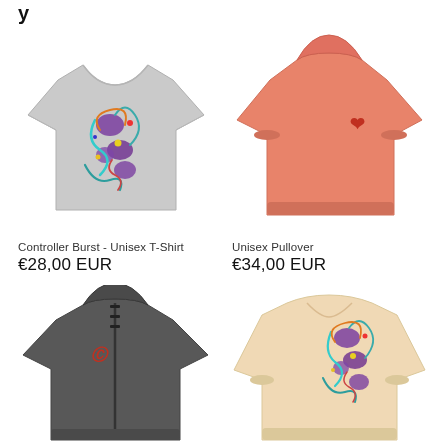[Figure (photo): Gray unisex t-shirt with colorful controller burst graphic]
Controller Burst - Unisex T-Shirt
€28,00 EUR
[Figure (photo): Salmon/coral pink unisex pullover hoodie with small logo]
Unisex Pullover
€34,00 EUR
[Figure (photo): Dark gray zip hoodie with small red logo]
[Figure (photo): Cream/beige long sleeve shirt with colorful graphic]